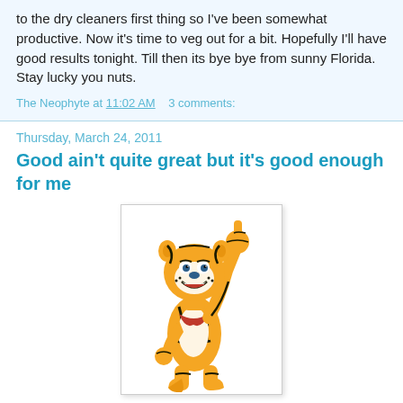to the dry cleaners first thing so I've been somewhat productive. Now it's time to veg out for a bit. Hopefully I'll have good results tonight. Till then its bye bye from sunny Florida. Stay lucky you nuts.
The Neophyte at 11:02 AM   3 comments:
Thursday, March 24, 2011
Good ain't quite great but it's good enough for me
[Figure (illustration): Tony the Tiger (Kellogg's Frosted Flakes mascot) cartoon illustration: an orange and black striped tiger wearing a red neckerchief, pointing one finger upward with its right hand raised high, smiling with a blue nose, posed dynamically.]